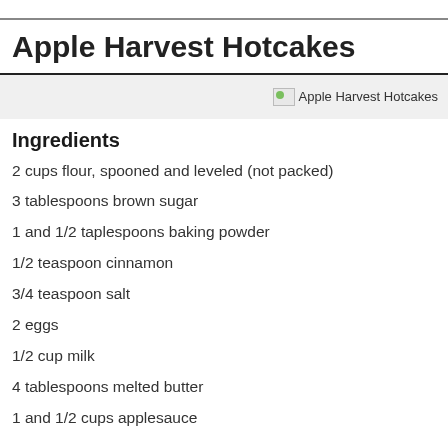Apple Harvest Hotcakes
[Figure (photo): Apple Harvest Hotcakes image placeholder]
Ingredients
2 cups flour, spooned and leveled (not packed)
3 tablespoons brown sugar
1 and 1/2 taplespoons baking powder
1/2 teaspoon cinnamon
3/4 teaspoon salt
2 eggs
1/2 cup milk
4 tablespoons melted butter
1 and 1/2 cups applesauce